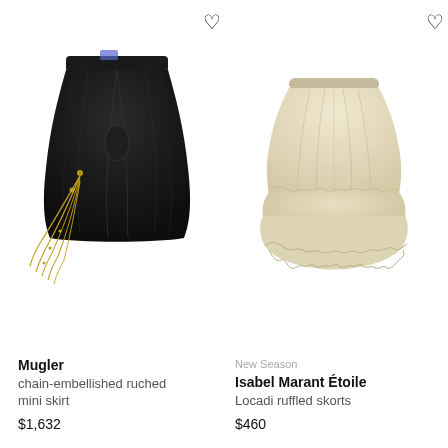[Figure (photo): Black chain-embellished ruched mini skirt by Mugler on white background]
[Figure (photo): Cream/beige Isabel Marant Étoile Locadi ruffled skorts on white background]
Mugler
chain-embellished ruched mini skirt
$1,632
New Season
Isabel Marant Étoile
Locadi ruffled skorts
$460